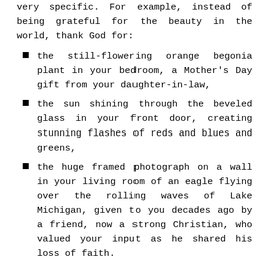very specific. For example, instead of being grateful for the beauty in the world, thank God for:
the still-flowering orange begonia plant in your bedroom, a Mother's Day gift from your daughter-in-law,
the sun shining through the beveled glass in your front door, creating stunning flashes of reds and blues and greens,
the huge framed photograph on a wall in your living room of an eagle flying over the rolling waves of Lake Michigan, given to you decades ago by a friend, now a strong Christian, who valued your input as he shared his loss of faith.
♥  Keep in mind during the hard days of the pandemic that God will provide strength to get through today and hope for each tomorrow. Thank God daily for his presence in